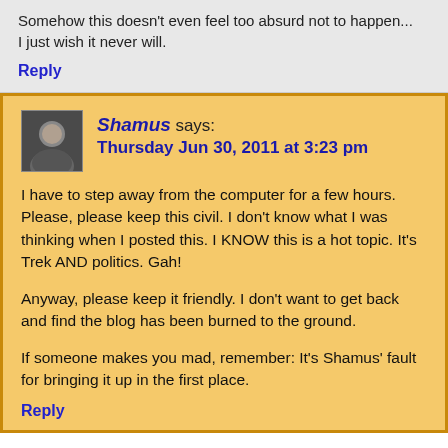Somehow this doesn't even feel too absurd not to happen... I just wish it never will.
Reply
Shamus says:
Thursday Jun 30, 2011 at 3:23 pm
I have to step away from the computer for a few hours. Please, please keep this civil. I don't know what I was thinking when I posted this. I KNOW this is a hot topic. It's Trek AND politics. Gah!
Anyway, please keep it friendly. I don't want to get back and find the blog has been burned to the ground.
If someone makes you mad, remember: It's Shamus' fault for bringing it up in the first place.
Reply